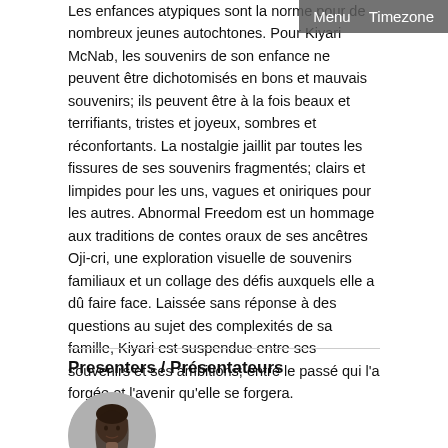Les enfances atypiques sont la norme pour de nombreux jeunes autochtones. Pour Kiyari McNab, les souvenirs de son enfance ne peuvent être dichotomisés en bons et mauvais souvenirs; ils peuvent être à la fois beaux et terrifiants, tristes et joyeux, sombres et réconfortants. La nostalgie jaillit par toutes les fissures de ses souvenirs fragmentés; clairs et limpides pour les uns, vagues et oniriques pour les autres. Abnormal Freedom est un hommage aux traditions de contes oraux de ses ancêtres Oji-cri, une exploration visuelle de souvenirs familiaux et un collage des défis auxquels elle a dû faire face. Laissée sans réponse à des questions au sujet des complexités de sa famille, Kiyari est suspendue entre ses souvenirs et ses ambitions; entre le passé qui l'a forgée et l'avenir qu'elle se forgera.
Presenters / Présentateurs
[Figure (photo): Circular avatar photo of a person with dark hair]